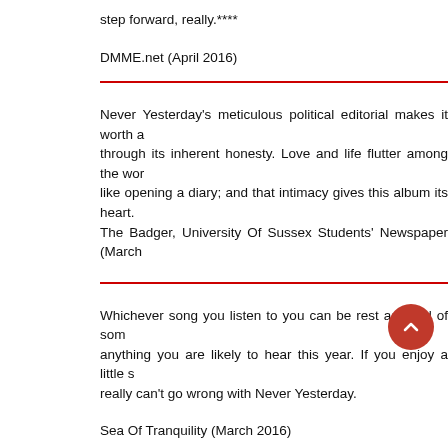step forward, really.****
DMME.net (April 2016)
Never Yesterday's meticulous political editorial makes it worth a through its inherent honesty. Love and life flutter among the wor like opening a diary; and that intimacy gives this album its heart. The Badger, University Of Sussex Students' Newspaper (March
Whichever song you listen to you can be rest assured of som anything you are likely to hear this year. If you enjoy a little s really can't go wrong with Never Yesterday.
Sea Of Tranquility (March 2016)
Standout track Give War a Chance is an irresistible critique o refrain “I am an envoy for peace/But I’ve got war on my mind/I watch your behind” carrying a wholly correct prediction, chastisi the root of the madness with a heat seeking intensity any gen